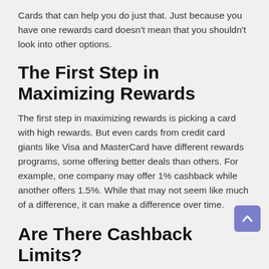Cards that can help you do just that. Just because you have one rewards card doesn't mean that you shouldn't look into other options.
The First Step in Maximizing Rewards
The first step in maximizing rewards is picking a card with high rewards. But even cards from credit card giants like Visa and MasterCard have different rewards programs, some offering better deals than others. For example, one company may offer 1% cashback while another offers 1.5%. While that may not seem like much of a difference, it can make a difference over time.
Are There Cashback Limits?
There are a few things you need to know first before getting started. The first is that you are limited by how much you can earn in any